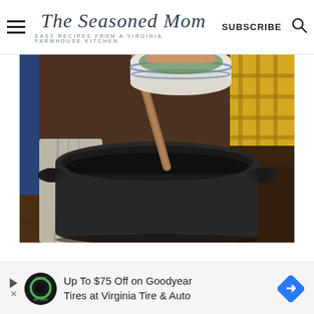The Seasoned Mom — EASY RECIPES FROM A VIRGINIA FARMHOUSE KITCHEN — SUBSCRIBE
[Figure (photo): A cast iron Dutch oven pot with a wooden spoon inside, sitting on a rustic wooden surface with a linen towel to the left. A hand is pouring ingredients from a striped ceramic bowl into the pot. Background shows a blue door edge and yellow plaid fabric.]
Up To $75 Off on Goodyear Tires at Virginia Tire & Auto